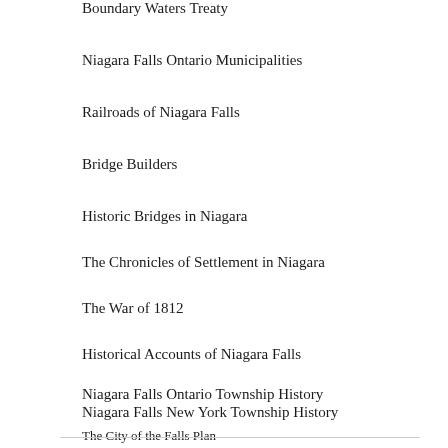Boundary Waters Treaty
Niagara Falls Ontario Municipalities
Railroads of Niagara Falls
Bridge Builders
Historic Bridges in Niagara
The Chronicles of Settlement in Niagara
The War of 1812
Historical Accounts of Niagara Falls
Niagara Falls Ontario Township History
Niagara Falls New York Township History
The City of the Falls Plan